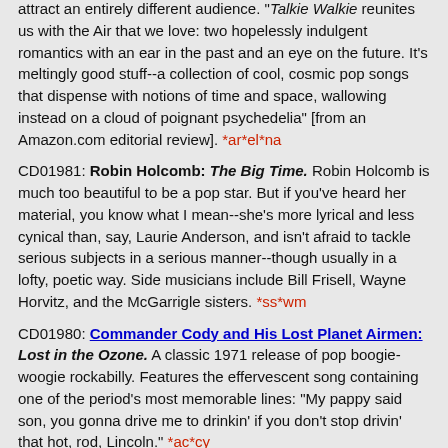attract an entirely different audience. "Talkie Walkie reunites us with the Air that we love: two hopelessly indulgent romantics with an ear in the past and an eye on the future. It's meltingly good stuff--a collection of cool, cosmic pop songs that dispense with notions of time and space, wallowing instead on a cloud of poignant psychedelia" [from an Amazon.com editorial review]. *ar*el*na
CD01981: Robin Holcomb: The Big Time. Robin Holcomb is much too beautiful to be a pop star. But if you've heard her material, you know what I mean--she's more lyrical and less cynical than, say, Laurie Anderson, and isn't afraid to tackle serious subjects in a serious manner--though usually in a lofty, poetic way. Side musicians include Bill Frisell, Wayne Horvitz, and the McGarrigle sisters. *ss*wm
CD01980: Commander Cody and His Lost Planet Airmen: Lost in the Ozone. A classic 1971 release of pop boogie-woogie rockabilly. Features the effervescent song containing one of the period's most memorable lines: "My pappy said son, you gonna drive me to drinkin' if you don't stop drivin' that hot, rod, Lincoln." *ac*cy
CD01979: Uncle Tupelo: Anodyne. One of the pioneer acts in alternative country, Uncle Tupelo hailed from Belleville, Illinois, taking their name in 1987 as a trio when an earlier version of the band